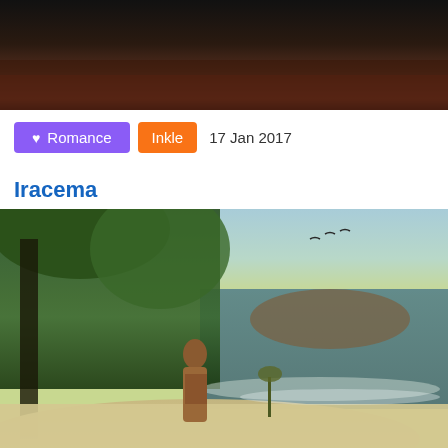[Figure (photo): Dark atmospheric photo, appears to be a river or landscape scene with dark tones]
♥ Romance  Inkle  17 Jan 2017
Iracema
[Figure (photo): Painting of a native woman standing on a tropical beach with lush green trees, ocean waves, and a small plant in the sand. Classic 19th-century romantic painting style.]
♥ Romance  Quest  21 Nov 2016